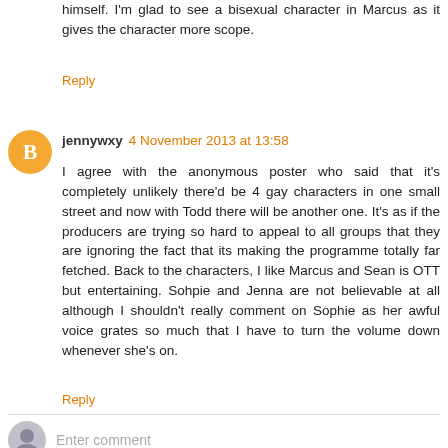himself. I'm glad to see a bisexual character in Marcus as it gives the character more scope.
Reply
jennywxy 4 November 2013 at 13:58
I agree with the anonymous poster who said that it's completely unlikely there'd be 4 gay characters in one small street and now with Todd there will be another one. It's as if the producers are trying so hard to appeal to all groups that they are ignoring the fact that its making the programme totally far fetched. Back to the characters, I like Marcus and Sean is OTT but entertaining. Sohpie and Jenna are not believable at all although I shouldn't really comment on Sophie as her awful voice grates so much that I have to turn the volume down whenever she's on.
Reply
Enter comment